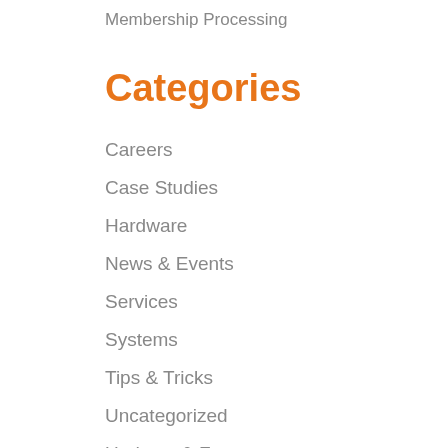Membership Processing
Categories
Careers
Case Studies
Hardware
News & Events
Services
Systems
Tips & Tricks
Uncategorized
Updates & Features
Users